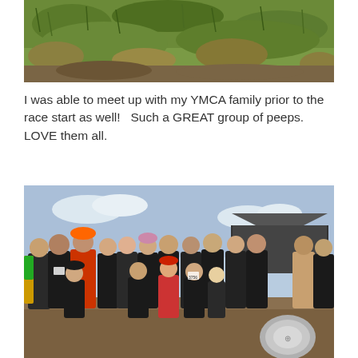[Figure (photo): Outdoor photo showing a grassy/muddy field ground close-up, likely taken during or near a race event.]
I was able to meet up with my YMCA family prior to the race start as well!   Such a GREAT group of peeps.  LOVE them all.
[Figure (photo): Group photo of approximately 20 people wearing mostly black t-shirts, some with race bibs, posing outdoors at what appears to be a mud run or obstacle race event. One person wears an orange hard hat costume. They are standing and kneeling in front of a tent structure on a dirt/grass area.]